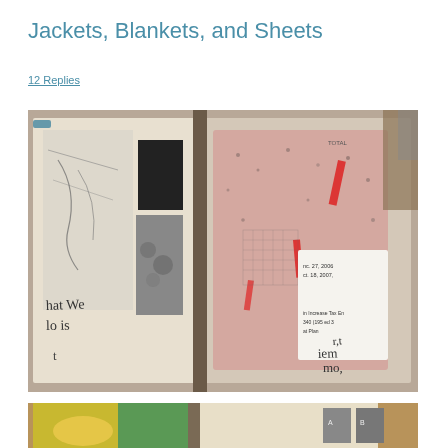Jackets, Blankets, and Sheets
12 Replies
[Figure (photo): Open journal/book spread showing collage art with handwritten text including 'hat We lo is' and receipts/newspaper clippings layered on textured pink paper with red tape accents]
[Figure (photo): Partial view of another open journal spread with painted/collaged pages showing yellow and green paint with a small photo]